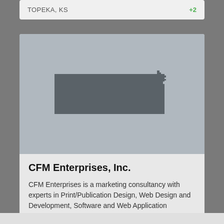TOPEKA, KS
+2
[Figure (map): Silhouette map of the state of Kansas in dark gray on a light gray background]
CFM Enterprises, Inc.
CFM Enterprises is a marketing consultancy with experts in Print/Publication Design, Web Design and Development, Software and Web Application Development.